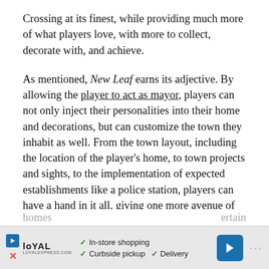Crossing at its finest, while providing much more of what players love, with more to collect, decorate with, and achieve.
As mentioned, New Leaf earns its adjective. By allowing the player to act as mayor, players can not only inject their personalities into their home and decorations, but can customize the town they inhabit as well. From the town layout, including the location of the player's home, to town projects and sights, to the implementation of expected establishments like a police station, players can have a hand in it all, giving one more avenue of growth and customization, all while preserving the simplicity and painlessness of play Animal Crossing is known for. The door to customization has been opened wider than ever before, inside and out. The exterior of player's homes [cut off] ...rtain
[Figure (other): Advertisement banner for 'Loyal' service showing in-store shopping, curbside pickup, and delivery options with logo and navigation arrow button]